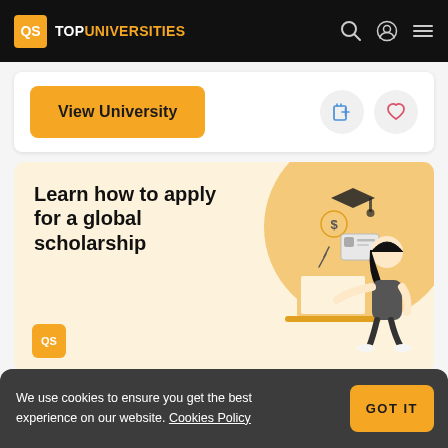QS TOPUNIVERSITIES
View University
[Figure (illustration): Banner with text 'Learn how to apply for a global scholarship' on a cream background with an orange circle and illustration of a woman at a laptop with scholarship icons. QS logo bottom left.]
We use cookies to ensure you get the best experience on our website. Cookies Policy
GOT IT